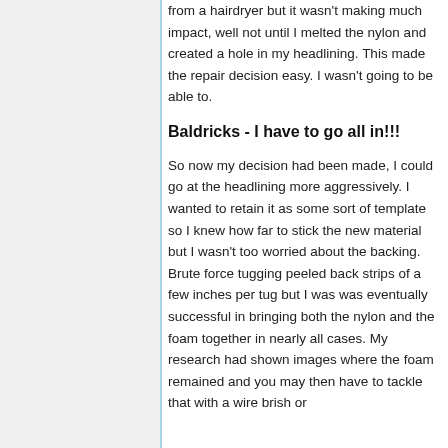from a hairdryer but it wasn't making much impact, well not until I melted the nylon and created a hole in my headlining. This made the repair decision easy. I wasn't going to be able to.
Baldricks - I have to go all in!!!
So now my decision had been made, I could go at the headlining more aggressively. I wanted to retain it as some sort of template so I knew how far to stick the new material but I wasn't too worried about the backing. Brute force tugging peeled back strips of a few inches per tug but I was was eventually successful in bringing both the nylon and the foam together in nearly all cases. My research had shown images where the foam remained and you may then have to tackle that with a wire brish or